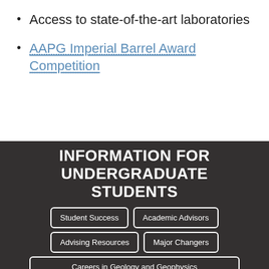Access to state-of-the-art laboratories
AAPG Imperial Barrel Award Competition
INFORMATION FOR UNDERGRADUATE STUDENTS
Student Success
Academic Advisors
Advising Resources
Major Changers
Careers in Geology and Geophysics
Medallion Scholars Program